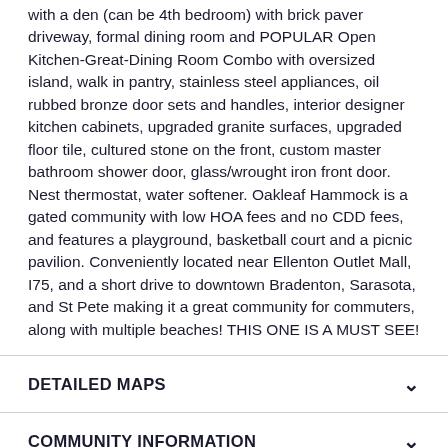with a den (can be 4th bedroom) with brick paver driveway, formal dining room and POPULAR Open Kitchen-Great-Dining Room Combo with oversized island, walk in pantry, stainless steel appliances, oil rubbed bronze door sets and handles, interior designer kitchen cabinets, upgraded granite surfaces, upgraded floor tile, cultured stone on the front, custom master bathroom shower door, glass/wrought iron front door. Nest thermostat, water softener. Oakleaf Hammock is a gated community with low HOA fees and no CDD fees, and features a playground, basketball court and a picnic pavilion. Conveniently located near Ellenton Outlet Mall, I75, and a short drive to downtown Bradenton, Sarasota, and St Pete making it a great community for commuters, along with multiple beaches! THIS ONE IS A MUST SEE!
DETAILED MAPS
COMMUNITY INFORMATION
ARCHITECTURE